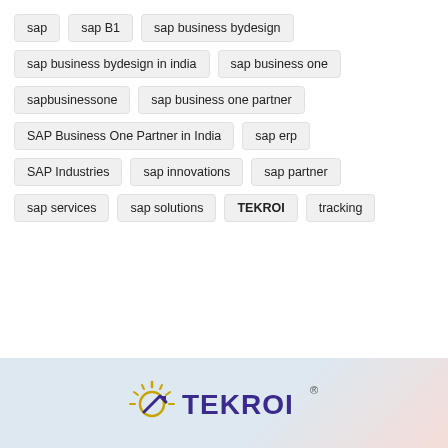sap
sap B1
sap business bydesign
sap business bydesign in india
sap business one
sapbusinessone
sap business one partner
SAP Business One Partner in India
sap erp
SAP Industries
sap innovations
sap partner
sap services
sap solutions
TEKROI
tracking
[Figure (logo): TEKROI company logo with sun/arrow graphic and registered trademark symbol]